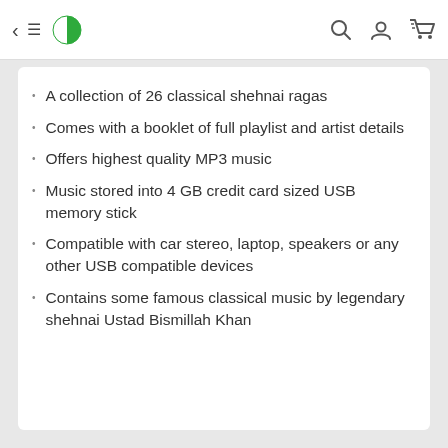Navigation bar with back arrow, hamburger menu, logo, search, account, and cart icons
A collection of 26 classical shehnai ragas
Comes with a booklet of full playlist and artist details
Offers highest quality MP3 music
Music stored into 4 GB credit card sized USB memory stick
Compatible with car stereo, laptop, speakers or any other USB compatible devices
Contains some famous classical music by legendary shehnai Ustad Bismillah Khan